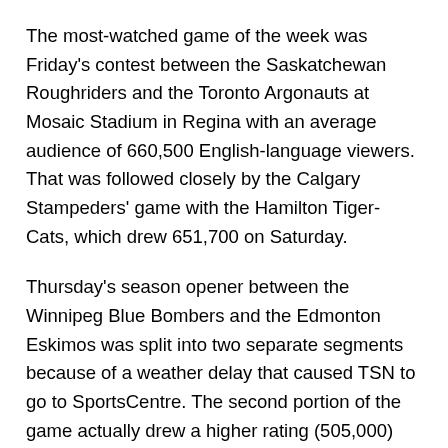The most-watched game of the week was Friday's contest between the Saskatchewan Roughriders and the Toronto Argonauts at Mosaic Stadium in Regina with an average audience of 660,500 English-language viewers. That was followed closely by the Calgary Stampeders' game with the Hamilton Tiger-Cats, which drew 651,700 on Saturday.
Thursday's season opener between the Winnipeg Blue Bombers and the Edmonton Eskimos was split into two separate segments because of a weather delay that caused TSN to go to SportsCentre. The second portion of the game actually drew a higher rating (505,000) than the first (457,000.) For the purposes of the overall average, we've split the difference (481,000.)
Saturday's late game between the B.C. Lions and the Montreal Alouettes drew 547,600 – a very respectable number, given that both teams missed the playoffs last